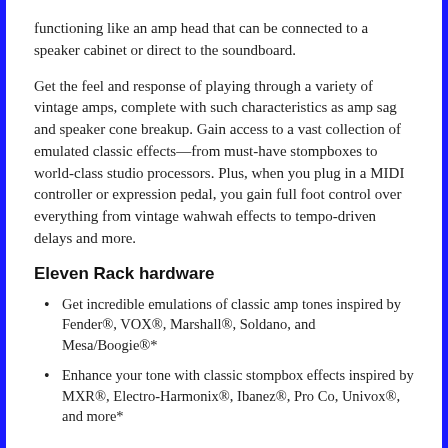functioning like an amp head that can be connected to a speaker cabinet or direct to the soundboard.
Get the feel and response of playing through a variety of vintage amps, complete with such characteristics as amp sag and speaker cone breakup. Gain access to a vast collection of emulated classic effects—from must-have stompboxes to world-class studio processors. Plus, when you plug in a MIDI controller or expression pedal, you gain full foot control over everything from vintage wahwah effects to tempo-driven delays and more.
Eleven Rack hardware
Get incredible emulations of classic amp tones inspired by Fender®, VOX®, Marshall®, Soldano, and Mesa/Boogie®*
Enhance your tone with classic stompbox effects inspired by MXR®, Electro-Harmonix®, Ibanez®, Pro Co, Univox®, and more*